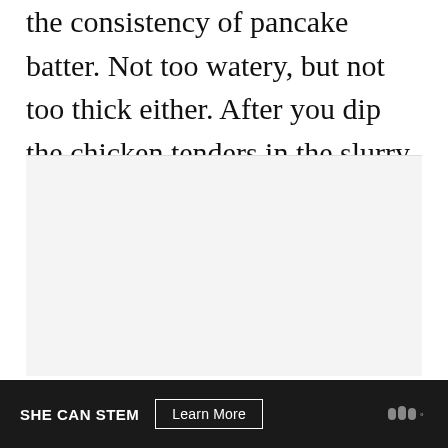the consistency of pancake batter. Not too watery, but not too thick either. After you dip the chicken tenders in the slurry, bread them as normal, per recipe directions.
[Figure (other): Gray advertisement placeholder box]
SHE CAN STEM  Learn More